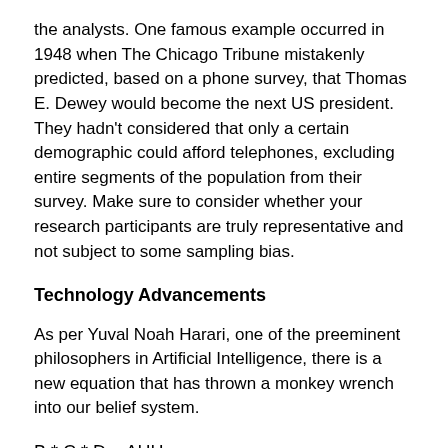the analysts. One famous example occurred in 1948 when The Chicago Tribune mistakenly predicted, based on a phone survey, that Thomas E. Dewey would become the next US president. They hadn't considered that only a certain demographic could afford telephones, excluding entire segments of the population from their survey. Make sure to consider whether your research participants are truly representative and not subject to some sampling bias.
Technology Advancements
As per Yuval Noah Harari, one of the preeminent philosophers in Artificial Intelligence, there is a new equation that has thrown a monkey wrench into our belief system.